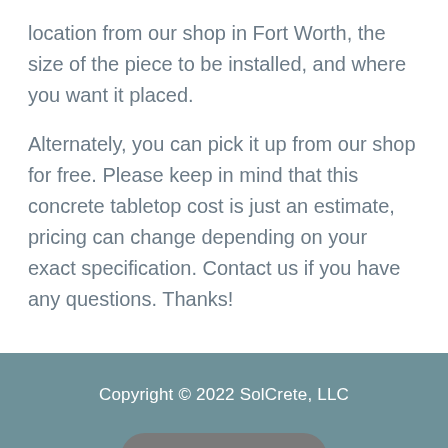location from our shop in Fort Worth, the size of the piece to be installed, and where you want it placed.
Alternately, you can pick it up from our shop for free. Please keep in mind that this concrete tabletop cost is just an estimate, pricing can change depending on your exact specification. Contact us if you have any questions. Thanks!
Copyright © 2022 SolCrete, LLC
Contact Us
All Rights Reserved